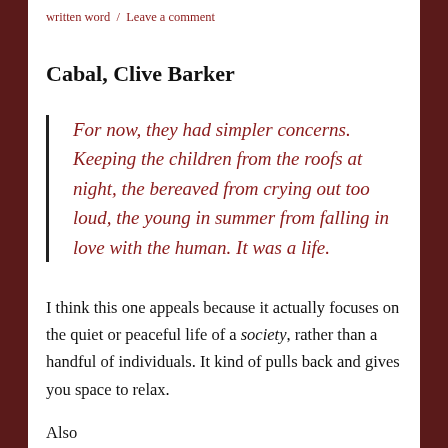written word / Leave a comment
Cabal, Clive Barker
For now, they had simpler concerns. Keeping the children from the roofs at night, the bereaved from crying out too loud, the young in summer from falling in love with the human. It was a life.
I think this one appeals because it actually focuses on the quiet or peaceful life of a society, rather than a handful of individuals. It kind of pulls back and gives you space to relax.
Also...